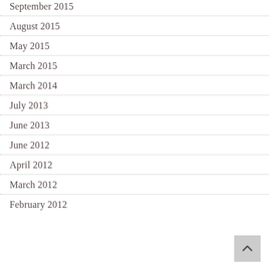September 2015
August 2015
May 2015
March 2015
March 2014
July 2013
June 2013
June 2012
April 2012
March 2012
February 2012